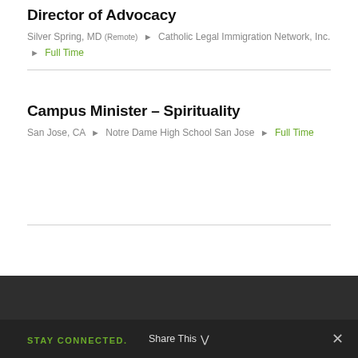Director of Advocacy
Silver Spring, MD (Remote) ▸ Catholic Legal Immigration Network, Inc. ▸ Full Time
Campus Minister – Spirituality
San Jose, CA ▸ Notre Dame High School San Jose ▸ Full Time
STAY CONNECTED.
Share This ∨